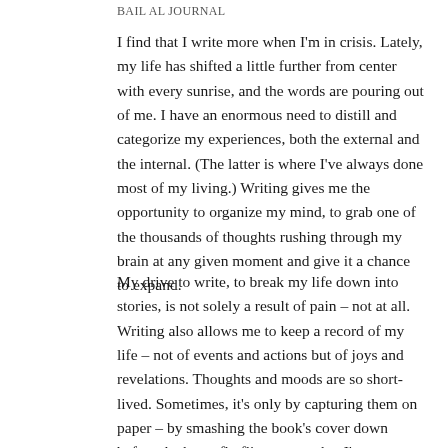BAIL AL JOURNAL
I find that I write more when I'm in crisis. Lately, my life has shifted a little further from center with every sunrise, and the words are pouring out of me. I have an enormous need to distill and categorize my experiences, both the external and the internal. (The latter is where I've always done most of my living.) Writing gives me the opportunity to organize my mind, to grab one of the thousands of thoughts rushing through my brain at any given moment and give it a chance to expand.
My drive to write, to break my life down into stories, is not solely a result of pain – not at all. Writing also allows me to keep a record of my life – not of events and actions but of joys and revelations. Thoughts and moods are so short-lived. Sometimes, it's only by capturing them on paper – by smashing the book's cover down before the butterfly flits away – that I'm